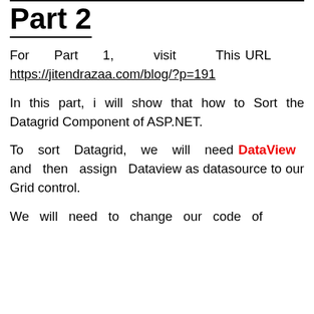Part 2
For Part 1, visit This URL https://jitendrazaa.com/blog/?p=191
In this part, i will show that how to Sort the Datagrid Component of ASP.NET.
To sort Datagrid, we will need DataView and then assign Dataview as datasource to our Grid control.
We will need to change our code of